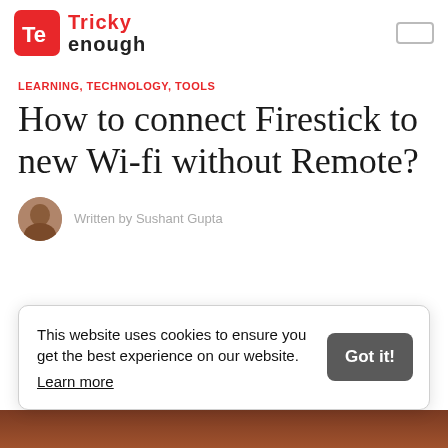[Figure (logo): Tricky Enough logo with red square icon containing 'Te' and text 'Tricky enough']
LEARNING, TECHNOLOGY, TOOLS
How to connect Firestick to new Wi-fi without Remote?
Written by Sushant Gupta
This website uses cookies to ensure you get the best experience on our website. Learn more